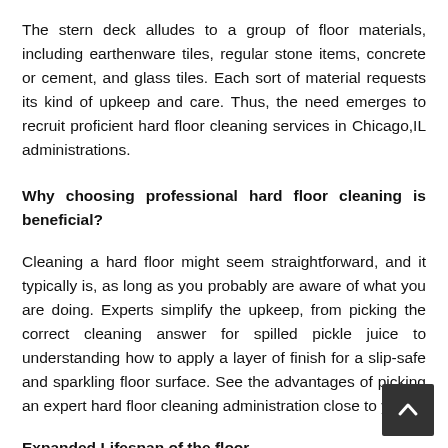The stern deck alludes to a group of floor materials, including earthenware tiles, regular stone items, concrete or cement, and glass tiles. Each sort of material requests its kind of upkeep and care. Thus, the need emerges to recruit proficient hard floor cleaning services in Chicago,IL administrations.
Why choosing professional hard floor cleaning is beneficial?
Cleaning a hard floor might seem straightforward, and it typically is, as long as you probably are aware of what you are doing. Experts simplify the upkeep, from picking the correct cleaning answer for spilled pickle juice to understanding how to apply a layer of finish for a slip-safe and sparkling floor surface. See the advantages of picking an expert hard floor cleaning administration close to you.
Expanded Lifespan of the floor